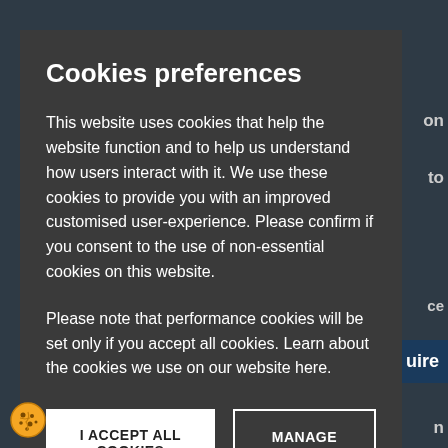Cookies preferences
This website uses cookies that help the website function and to help us understand how users interact with it. We use these cookies to provide you with an improved customised user-experience. Please confirm if you consent to the use of non-essential cookies on this website.
Please note that performance cookies will be set only if you accept all cookies. Learn about the cookies we use on our website here.
I ACCEPT ALL COOKIES
MANAGE COOKIES